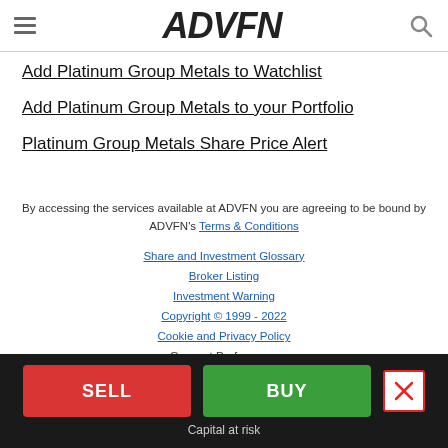ADVFN
Add Platinum Group Metals to Watchlist
Add Platinum Group Metals to your Portfolio
Platinum Group Metals Share Price Alert
By accessing the services available at ADVFN you are agreeing to be bound by ADVFN's Terms & Conditions
Share and Investment Glossary
Broker Listing
Investment Warning
Copyright © 1999 - 2022
Cookie and Privacy Policy
Consent Preferences
SELL  BUY  Capital at risk